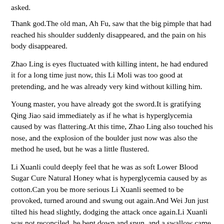asked.
Thank god.The old man, Ah Fu, saw that the big pimple that had reached his shoulder suddenly disappeared, and the pain on his body disappeared.
Zhao Ling is eyes fluctuated with killing intent, he had endured it for a long time just now, this Li Moli was too good at pretending, and he was already very kind without killing him.
Young master, you have already got the sword.It is gratifying Qing Jiao said immediately as if he what is hyperglycemia caused by was flattering.At this time, Zhao Ling also touched his nose, and the explosion of the boulder just now was also the method he used, but he was a little flustered.
Li Xuanli could deeply feel that he was as soft Lower Blood Sugar Cure Natural Honey what is hyperglycemia caused by as cotton.Can you be more serious Li Xuanli seemed to be provoked, turned around and swung out again.And Wei Jun just tilted his head slightly, dodging the attack once again.Li Xuanli was not reconciled, he bent down and spun, and a swallow came back to his senses, and his feet wanted to kick Wei Lower Blood Sugar Cure Natural Honey what is hyperglycemia caused by Jun is jaw.
What is even more terrifying is that the heavy pressure peak can